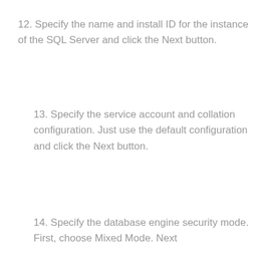12. Specify the name and install ID for the instance of the SQL Server and click the Next button.
13. Specify the service account and collation configuration. Just use the default configuration and click the Next button.
14. Specify the database engine security mode. First, choose Mixed Mode. Next